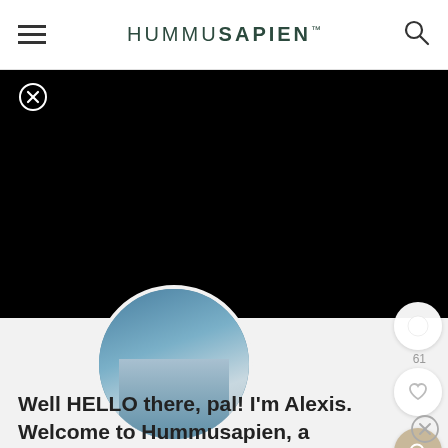HUMMUSAPIEN
[Figure (screenshot): Black banner/video area with a circular close (X) button in top-left corner, taking up most of the upper portion of the page]
[Figure (photo): Circular profile photo showing a person in a blue/teal top and light blue jeans, partially overlapping the black banner and gray content area]
Well HELLO there, pal! I'm Alexis. Welcome to Hummusapien, a
fantastical food blog brimming with nourishing (always delish!) recipes